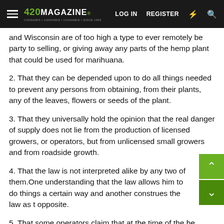420 MAGAZINE | LOG IN | REGISTER
and Wisconsin are of too high a type to ever remotely be party to selling, or giving away any parts of the hemp plant that could be used for marihuana.
2. That they can be depended upon to do all things needed to prevent any persons from obtaining, from their plants, any of the leaves, flowers or seeds of the plant.
3. That they universally hold the opinion that the real danger of supply does not lie from the production of licensed growers, or operators, but from unlicensed small growers and from roadside growth.
4. That the law is not interpreted alike by any two of them.One understanding that the law allows him to do things a certain way and another construes the law as the opposite.
5. That some operators claim that at the time of the he